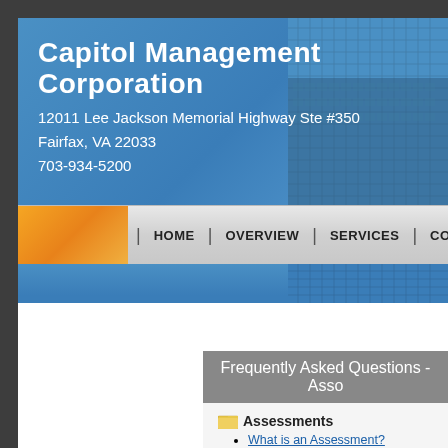Capitol Management Corporation
12011 Lee Jackson Memorial Highway Ste #350
Fairfax, VA 22033
703-934-5200
[Figure (screenshot): Navigation bar with orange logo area and menu items: HOME | OVERVIEW | SERVICES | COMMUNICATIONS | ON...]
Frequently Asked Questions - Asso...
Assessments
What is an Assessment?
Are 'Dues' different than 'Assessments?'
Association Types
What is a Homeowners Association (HOA)?
What is a Community Association?